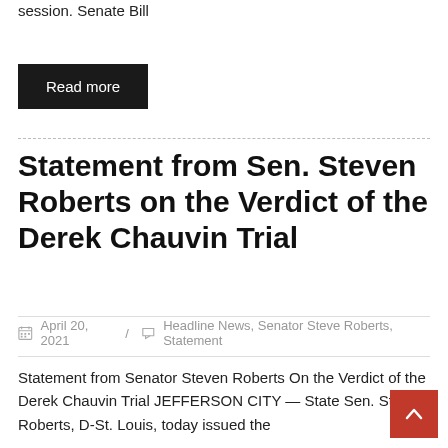session. Senate Bill
Read more
Statement from Sen. Steven Roberts on the Verdict of the Derek Chauvin Trial
April 20, 2021  /  Headline News, Senator Steve Roberts, Statement
Statement from Senator Steven Roberts On the Verdict of the Derek Chauvin Trial JEFFERSON CITY — State Sen. Steve Roberts, D-St. Louis, today issued the